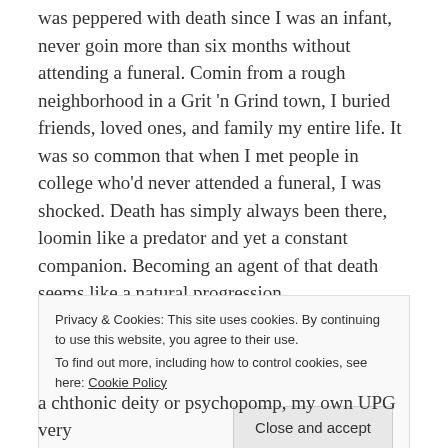was peppered with death since I was an infant, never goin more than six months without attending a funeral. Comin from a rough neighborhood in a Grit 'n Grind town, I buried friends, loved ones, and family my entire life. It was so common that when I met people in college who'd never attended a funeral, I was shocked. Death has simply always been there, loomin like a predator and yet a constant companion. Becoming an agent of that death seems like a natural progression.
My work in veterinary medicine is, in retrospect, I think what led me to Flidais, and possibly her to me. The short
Privacy & Cookies: This site uses cookies. By continuing to use this website, you agree to their use. To find out more, including how to control cookies, see here: Cookie Policy
a chthonic deity or psychopomp, my own UPG very